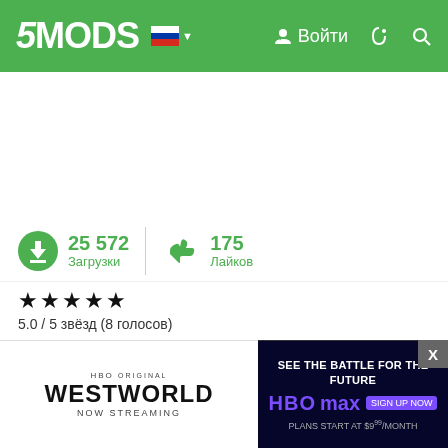5MODS — Войти
25 572 Загрузки | 175 Лайков
5.0 / 5 звёзд (8 голосов)
REQUIREMENTS
Non-pi...
"https:...
[Figure (screenshot): Advertisement overlay: HBO Original Westworld Now Streaming (left panel, white background), and HBO Max 'See the Battle for the Future' ad (right panel, dark background). Close button X in top right corner.]